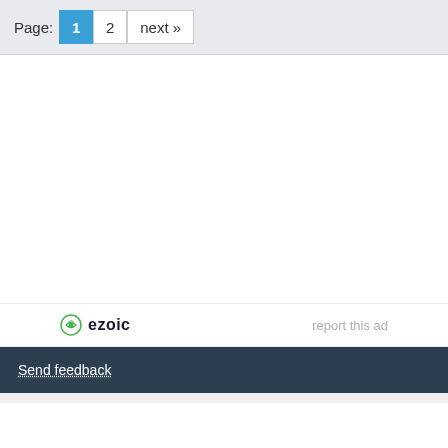Page: 1 2 next »
[Figure (other): Ezoic advertisement placeholder - blank white ad space]
ezoic   report this ad
Send feedback